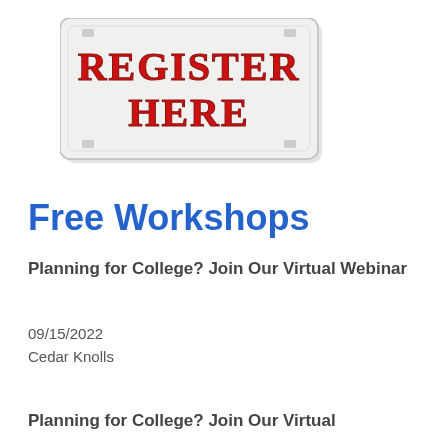[Figure (illustration): License plate graphic with 'Register Here' text in red serif block letters on a white/silver plate background]
Free Workshops
Planning for College? Join Our Virtual Webinar
09/15/2022
Cedar Knolls
Planning for College? Join Our Virtual